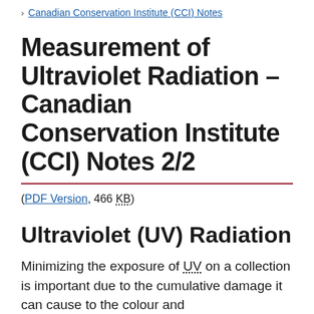Canadian Conservation Institute (CCI) Notes
Measurement of Ultraviolet Radiation – Canadian Conservation Institute (CCI) Notes 2/2
(PDF Version, 466 KB)
Ultraviolet (UV) Radiation
Minimizing the exposure of UV on a collection is important due to the cumulative damage it can cause to the colour and